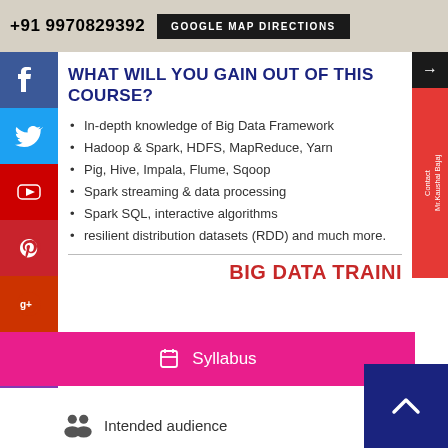+91 9970829392   GOOGLE MAP DIRECTIONS
WHAT WILL YOU GAIN OUT OF THIS COURSE?
In-depth knowledge of Big Data Framework
Hadoop & Spark, HDFS, MapReduce, Yarn
Pig, Hive, Impala, Flume, Sqoop
Spark streaming & data processing
Spark SQL, interactive algorithms
resilient distribution datasets (RDD) and much more.
BIG DATA TRAINI
Syllabus
Intended audience